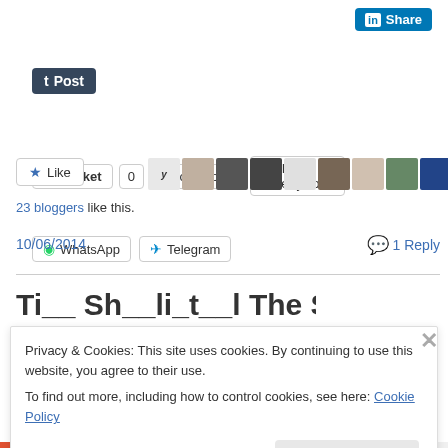[Figure (screenshot): LinkedIn Share button (blue)]
[Figure (screenshot): Tumblr Post button (dark blue)]
[Figure (screenshot): Social sharing buttons row: Pocket (count 0), Triond.com, Hello Poetry.com]
[Figure (screenshot): Social sharing buttons row: WhatsApp, Telegram]
[Figure (screenshot): Like button with 11 blogger avatars]
23 bloggers like this.
10/06/2014
1 Reply
Privacy & Cookies: This site uses cookies. By continuing to use this website, you agree to their use.
To find out more, including how to control cookies, see here: Cookie Policy
[Figure (screenshot): Close and accept button for cookie banner]